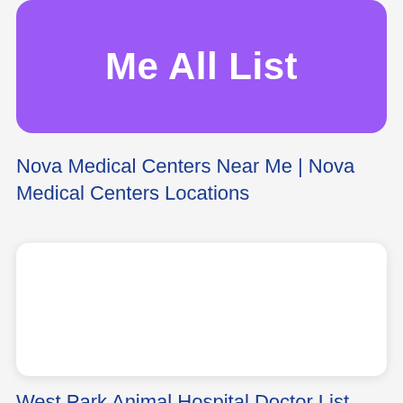Me All List
Nova Medical Centers Near Me | Nova Medical Centers Locations
[Figure (other): White rounded card placeholder with shadow]
West Park Animal Hospital Doctor List